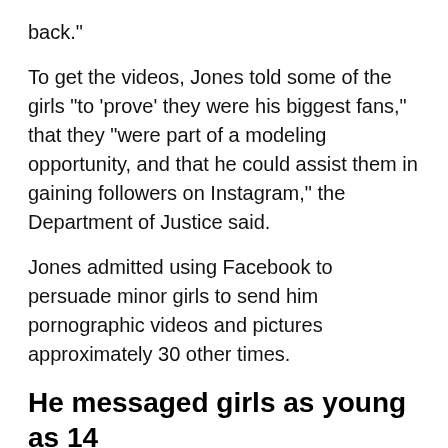back."
To get the videos, Jones told some of the girls "to 'prove' they were his biggest fans," that they "were part of a modeling opportunity, and that he could assist them in gaining followers on Instagram," the Department of Justice said.
Jones admitted using Facebook to persuade minor girls to send him pornographic videos and pictures approximately 30 other times.
He messaged girls as young as 14
Even before his arrest, Jones had come under fire for his interactions with young fans. In June 2015, he posted a 16-